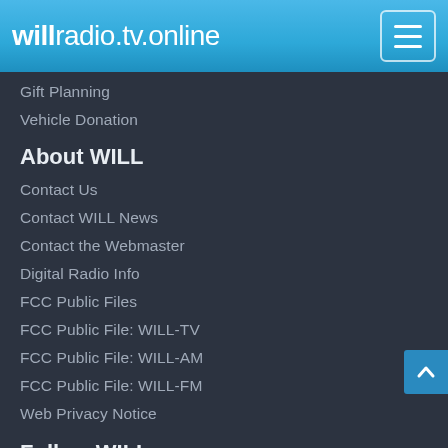willradio.tv.online
Gift Planning
Vehicle Donation
About WILL
Contact Us
Contact WILL News
Contact the Webmaster
Digital Radio Info
FCC Public Files
FCC Public File: WILL-TV
FCC Public File: WILL-AM
FCC Public File: WILL-FM
Web Privacy Notice
Follow WILL
[Figure (infographic): Social media icons: Facebook, Twitter, YouTube, Instagram]
Download the WILL Radio App